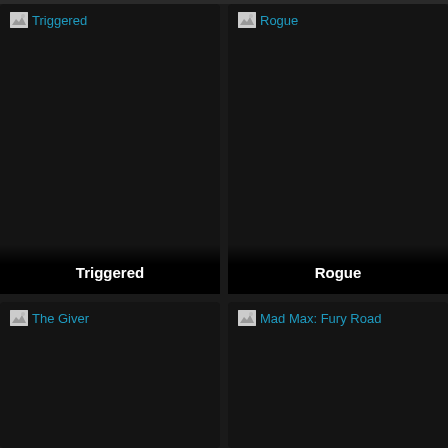[Figure (screenshot): Movie grid UI screenshot showing 4 movie tiles: Triggered, Rogue (top row), The Giver, Mad Max: Fury Road (bottom row) on a dark background Android app interface]
Triggered
Rogue
The Giver
Mad Max: Fury Road